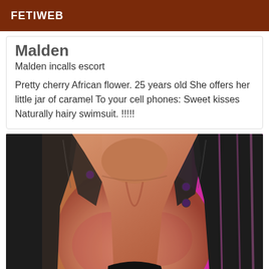FETIWEB
Malden
Malden incalls escort
Pretty cherry African flower. 25 years old She offers her little jar of caramel To your cell phones: Sweet kisses Naturally hairy swimsuit. !!!!!
[Figure (photo): Close-up photo of a woman wearing a black leather jacket with pink/magenta background lighting]